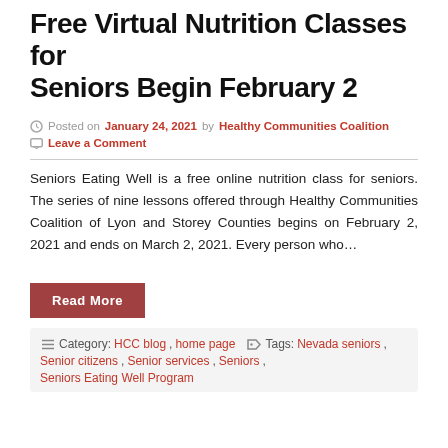Free Virtual Nutrition Classes for Seniors Begin February 2
Posted on January 24, 2021 by Healthy Communities Coalition
Leave a Comment
Seniors Eating Well is a free online nutrition class for seniors. The series of nine lessons offered through Healthy Communities Coalition of Lyon and Storey Counties begins on February 2, 2021 and ends on March 2, 2021. Every person who…
Read More
Category: HCC blog, home page   Tags: Nevada seniors, Senior citizens, Senior services, Seniors, Seniors Eating Well Program